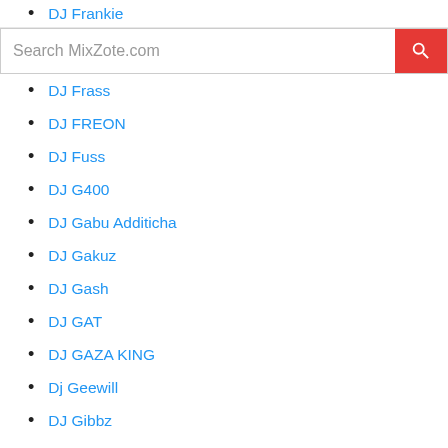DJ Frankie
[Figure (screenshot): Search bar with text 'Search MixZote.com' and a red search button with magnifying glass icon]
DJ Frass
DJ FREON
DJ Fuss
DJ G400
DJ Gabu Additicha
DJ Gakuz
DJ Gash
DJ GAT
DJ GAZA KING
Dj Geewill
DJ Gibbz
DJ GIO GUARDIAN
Dj Glen
DJ Gogez